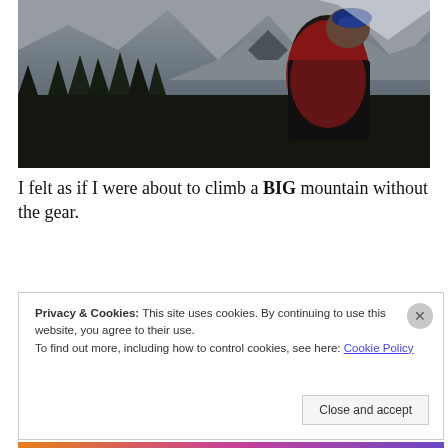[Figure (photo): A mountaineer with goggles and red/black jacket looking up at a snow-covered mountain range with dense pine trees in the foreground. Dramatic alpine scenery with steep rocky peaks and overcast sky.]
I felt as if I were about to climb a BIG mountain without the gear.
Privacy & Cookies: This site uses cookies. By continuing to use this website, you agree to their use.
To find out more, including how to control cookies, see here: Cookie Policy
Close and accept